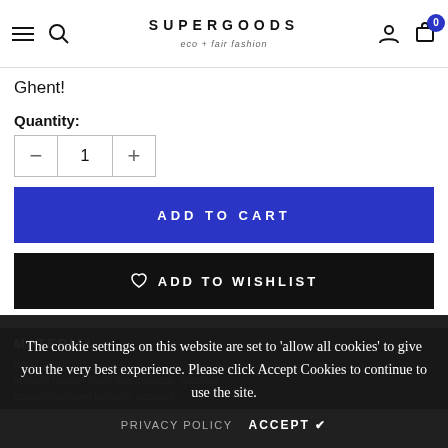SUPERGOODS eco + fair fashion
Ghent!
Quantity:
1
ADD TO CART
ADD TO WISHLIST
MATERIAL
aqua, water
sodium lauroyl methylisethionate, coconut
cocamidopropyl betaine, coconut
The cookie settings on this website are set to 'allow all cookies' to give you the very best experience. Please click Accept Cookies to continue to use the site.
PRIVACY POLICY  ACCEPT ✔